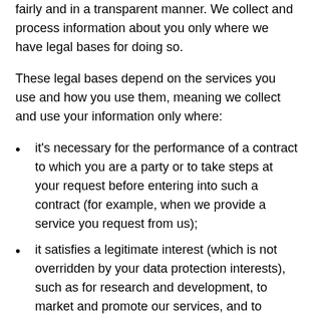fairly and in a transparent manner. We collect and process information about you only where we have legal bases for doing so.
These legal bases depend on the services you use and how you use them, meaning we collect and use your information only where:
it's necessary for the performance of a contract to which you are a party or to take steps at your request before entering into such a contract (for example, when we provide a service you request from us);
it satisfies a legitimate interest (which is not overridden by your data protection interests), such as for research and development, to market and promote our services, and to protect our